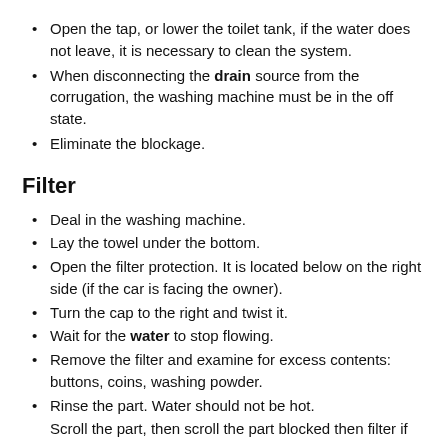Open the tap, or lower the toilet tank, if the water does not leave, it is necessary to clean the system.
When disconnecting the drain source from the corrugation, the washing machine must be in the off state.
Eliminate the blockage.
Filter
Deal in the washing machine.
Lay the towel under the bottom.
Open the filter protection. It is located below on the right side (if the car is facing the owner).
Turn the cap to the right and twist it.
Wait for the water to stop flowing.
Remove the filter and examine for excess contents: buttons, coins, washing powder.
Rinse the part. Water should not be hot.
Scroll the part, then scroll the part blocked then filter if...